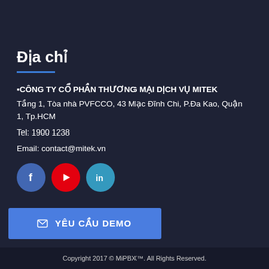Địa chỉ
CÔNG TY CỔ PHẦN THƯƠNG MẠI DỊCH VỤ MITEK
Tầng 1, Tòa nhà PVFCCO, 43 Mạc Đĩnh Chi, P.Đa Kao, Quận 1, Tp.HCM
Tel: 1900 1238
Email: contact@mitek.vn
[Figure (illustration): Social media icons: Facebook (blue circle with f), YouTube (red circle with play button), LinkedIn (teal circle with in)]
✉ YÊU CẦU DEMO
Copyright 2017 © MiPBX™. All Rights Reserved.